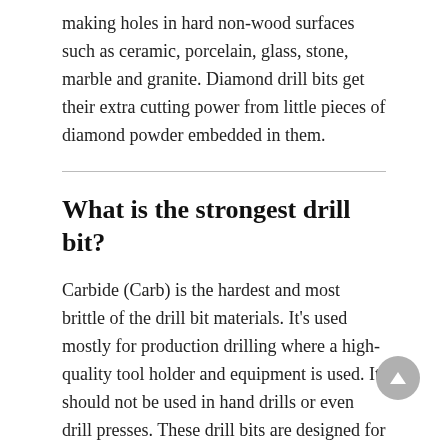making holes in hard non-wood surfaces such as ceramic, porcelain, glass, stone, marble and granite. Diamond drill bits get their extra cutting power from little pieces of diamond powder embedded in them.
What is the strongest drill bit?
Carbide (Carb) is the hardest and most brittle of the drill bit materials. It’s used mostly for production drilling where a high-quality tool holder and equipment is used. It should not be used in hand drills or even drill presses. These drill bits are designed for the most demanding and hardest materials.
How can I cut glass without a glass